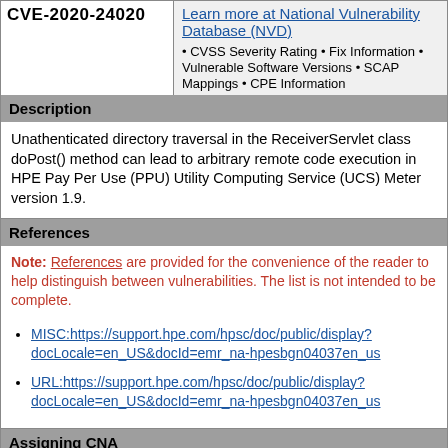CVE-2020-24020
Learn more at National Vulnerability Database (NVD) • CVSS Severity Rating • Fix Information • Vulnerable Software Versions • SCAP Mappings • CPE Information
Description
Unathenticated directory traversal in the ReceiverServlet class doPost() method can lead to arbitrary remote code execution in HPE Pay Per Use (PPU) Utility Computing Service (UCS) Meter version 1.9.
References
Note: References are provided for the convenience of the reader to help distinguish between vulnerabilities. The list is not intended to be complete.
MISC:https://support.hpe.com/hpsc/doc/public/display?docLocale=en_US&docId=emr_na-hpesbgn04037en_us
URL:https://support.hpe.com/hpsc/doc/public/display?docLocale=en_US&docId=emr_na-hpesbgn04037en_us
Assigning CNA